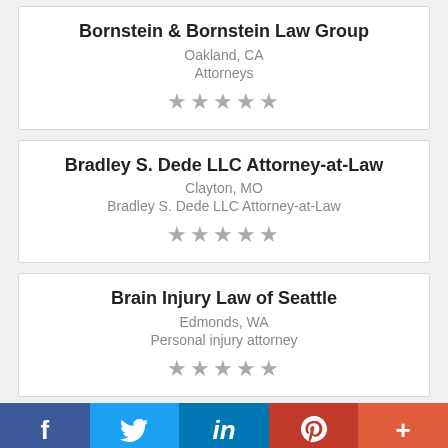Bornstein & Bornstein Law Group
Oakland, CA
Attorneys
[Figure (other): 5-star rating (empty stars)]
Bradley S. Dede LLC Attorney-at-Law
Clayton, MO
Bradley S. Dede LLC Attorney-at-Law
[Figure (other): 5-star rating (empty stars)]
Brain Injury Law of Seattle
Edmonds, WA
Personal injury attorney
[Figure (other): 5-star rating (empty stars)]
f  (Twitter bird)  in  P  +